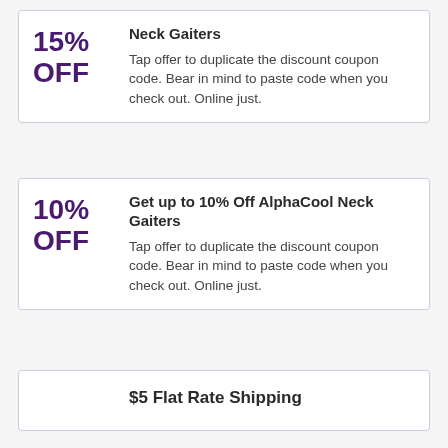Neck Gaiters
15% OFF
Tap offer to duplicate the discount coupon code. Bear in mind to paste code when you check out. Online just.
Get up to 10% Off AlphaCool Neck Gaiters
10% OFF
Tap offer to duplicate the discount coupon code. Bear in mind to paste code when you check out. Online just.
$5 Flat Rate Shipping